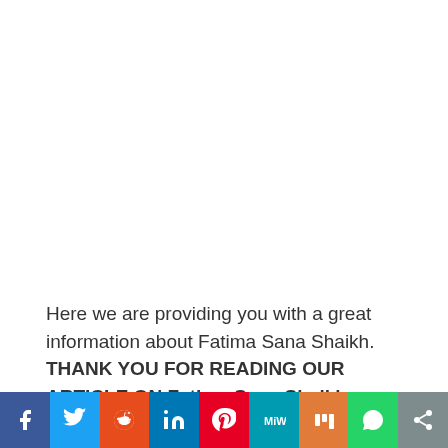Here we are providing you with a great information about Fatima Sana Shaikh. THANK YOU FOR READING OUR ARTICLE ON Fatima Sana Shaikh
[Figure (other): Social sharing bar with icons for Facebook, Twitter, Reddit, LinkedIn, Pinterest, MeWe, Mix, WhatsApp, and Share]